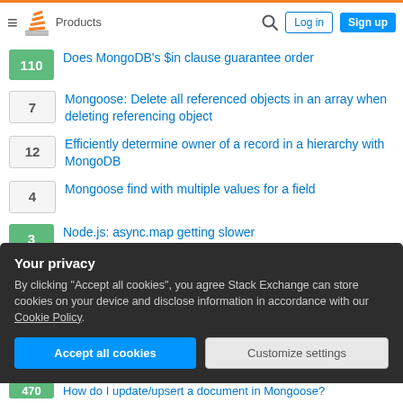Stack Overflow navigation: hamburger menu, logo, Products, search, Log in, Sign up
110 — Does MongoDB's $in clause guarantee order
7 — Mongoose: Delete all referenced objects in an array when deleting referencing object
12 — Efficiently determine owner of a record in a hierarchy with MongoDB
4 — Mongoose find with multiple values for a field
3 — Node.js: async.map getting slower
0 — find user details from array of object ids
0 — Evaluating an Array of MongoDB IDs
Your privacy
By clicking "Accept all cookies", you agree Stack Exchange can store cookies on your device and disclose information in accordance with our Cookie Policy.
470 — How do I update/upsert a document in Mongoose?